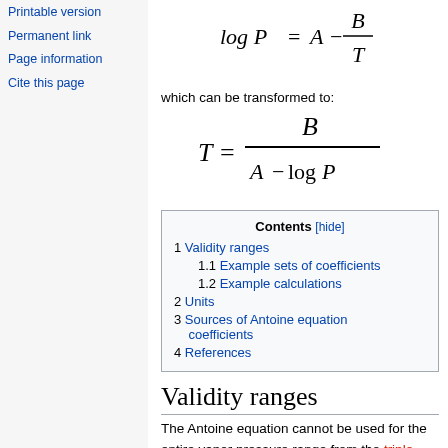Printable version
Permanent link
Page information
Cite this page
which can be transformed to:
| Contents [hide] |
| 1 Validity ranges |
| 1.1 Example sets of coefficients |
| 1.2 Example calculations |
| 2 Units |
| 3 Sources of Antoine equation coefficients |
| 4 References |
Validity ranges
The Antoine equation cannot be used for the entire vapor pressure range from the triple point to the critical point because it